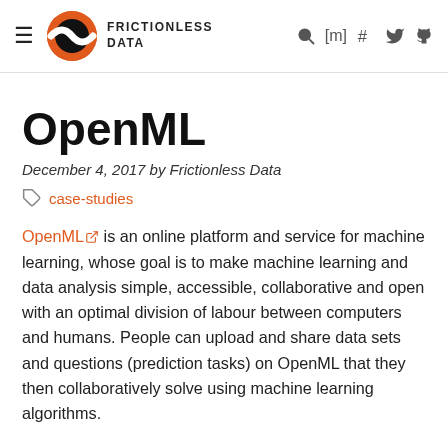Frictionless Data
OpenML
December 4, 2017 by Frictionless Data
case-studies
OpenML is an online platform and service for machine learning, whose goal is to make machine learning and data analysis simple, accessible, collaborative and open with an optimal division of labour between computers and humans. People can upload and share data sets and questions (prediction tasks) on OpenML that they then collaboratively solve using machine learning algorithms.